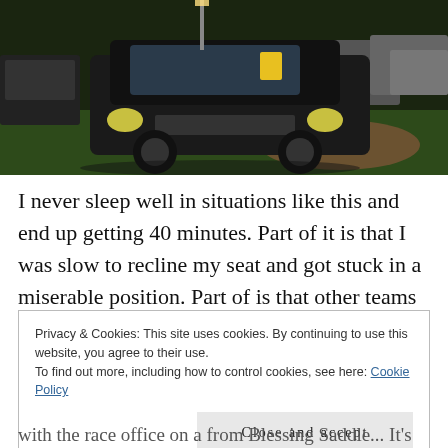[Figure (photo): A dark/black minivan (appears to be a Chrysler Town & Country) parked on grass at night, with other vehicles visible in the background under artificial lighting.]
I never sleep well in situations like this and end up getting 40 minutes. Part of it is that I was slow to recline my seat and got stuck in a miserable position. Part of is that other teams are coming in later than us and are
Privacy & Cookies: This site uses cookies. By continuing to use this website, you agree to their use.
To find out more, including how to control cookies, see here: Cookie Policy
Close and accept
with the race office on a from Blessing Saddle... It's